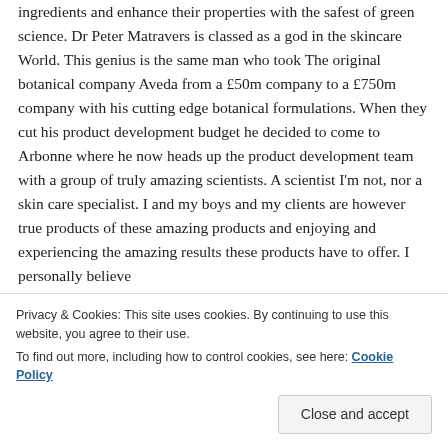ingredients and enhance their properties with the safest of green science. Dr Peter Matravers is classed as a god in the skincare World. This genius is the same man who took The original botanical company Aveda from a £50m company to a £750m company with his cutting edge botanical formulations. When they cut his product development budget he decided to come to Arbonne where he now heads up the product development team with a group of truly amazing scientists. A scientist I'm not, nor a skin care specialist. I and my boys and my clients are however true products of these amazing products and enjoying and experiencing the amazing results these products have to offer. I personally believe
Privacy & Cookies: This site uses cookies. By continuing to use this website, you agree to their use. To find out more, including how to control cookies, see here: Cookie Policy
and beneficial.